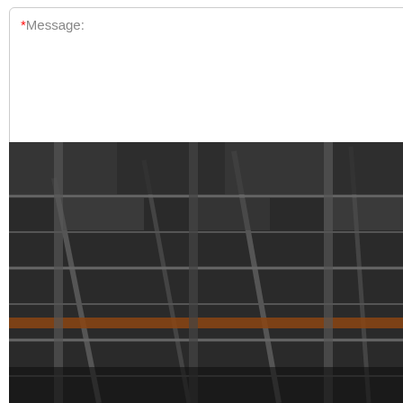* Message:
[Figure (screenshot): Green Submit Now button]
[Figure (infographic): 24/7 Online chat widget with customer service representative photo, 'Click here for free chat!' text, and orange QUOTATION button]
[Figure (photo): Black and white photo of industrial warehouse interior showing steel roof structure and beams]